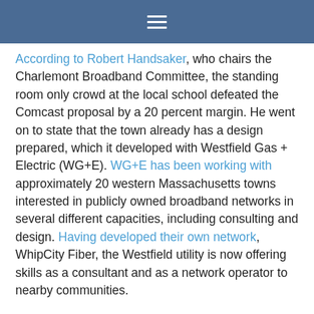≡
According to Robert Handsaker, who chairs the Charlemont Broadband Committee, the standing room only crowd at the local school defeated the Comcast proposal by a 20 percent margin. He went on to state that the town already has a design prepared, which it developed with Westfield Gas + Electric (WG+E). WG+E has been working with approximately 20 western Massachusetts towns interested in publicly owned broadband networks in several different capacities, including consulting and design. Having developed their own network, WhipCity Fiber, the Westfield utility is now offering skills as a consultant and as a network operator to nearby communities.
The Comcast proposal required Charlemont to kick in more than $462,000 while only serving 96 percent of the community. Ownership of the infrastructure would have remained with the